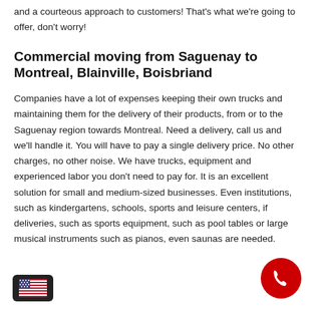and a courteous approach to customers! That's what we're going to offer, don't worry!
Commercial moving from Saguenay to Montreal, Blainville, Boisbriand
Companies have a lot of expenses keeping their own trucks and maintaining them for the delivery of their products, from or to the Saguenay region towards Montreal. Need a delivery, call us and we'll handle it. You will have to pay a single delivery price. No other charges, no other noise. We have trucks, equipment and experienced labor you don't need to pay for. It is an excellent solution for small and medium-sized businesses. Even institutions, such as kindergartens, schools, sports and leisure centers, if deliveries, such as sports equipment, such as pool tables or large musical instruments such as pianos, even saunas are needed.